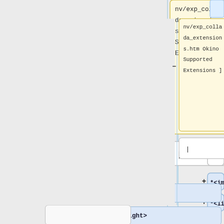[Figure (flowchart): A diagram showing a tree/hierarchy of XML/COLLADA schema nodes. A yellow highlighted node shows 'nv/exp_collada_extensions.htm Okino Supported Extensions ]' with minus and plus connectors. Below it are pipe connector boxes. On the right column are blue nodes labeled *<imager>, *<light>, *<mesh>, *<node>, *<optics>, and * <visual_scene> with plus expand signs. There are also partially visible boxes at the bottom.]